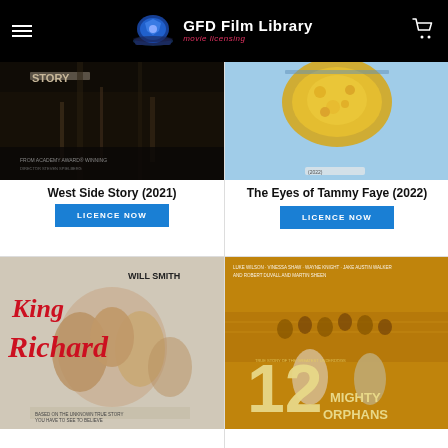GFD Film Library – movie licensing
[Figure (photo): Movie poster for West Side Story (2021) – dark theatrical scene with 'STORY' text visible]
West Side Story (2021)
LICENCE NOW
[Figure (photo): Movie poster for The Eyes of Tammy Faye (2022) – golden heart made of coins/jewels against blue sky]
The Eyes of Tammy Faye (2022)
LICENCE NOW
[Figure (photo): Movie poster for King Richard – Will Smith starring, showing family embrace with bold red script title]
[Figure (photo): Movie poster for 12 Mighty Orphans – football scene with large '12 Mighty Orphans' text, starring Luke Wilson]